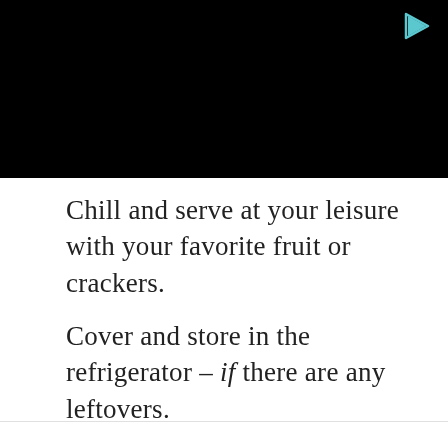[Figure (screenshot): Black video/image area with a teal play button icon in the top right corner]
Chill and serve at your leisure with your favorite fruit or crackers.
Cover and store in the refrigerator – if there are any leftovers.